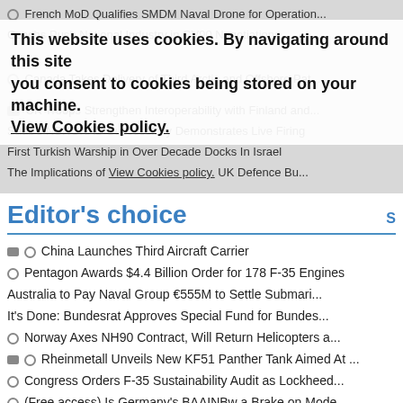French MoD Qualifies SMDM Naval Drone for Operation...
Czechs Push National Industry in CV90 Negotiations
This website uses cookies. By navigating around this site you consent to cookies being stored on your machine. View Cookies policy.
Canada Takes Delivery of Third Arctic and Offshore Pat...
UK Troops Strengthen Interoperability with Finland and...
Saab's NSHOKAD Successfully Demonstrates Live Firing
First Turkish Warship in Over Decade Docks In Israel
The Implications of View Cookies policy. UK Defence Bu...
Editor's choice
China Launches Third Aircraft Carrier
Pentagon Awards $4.4 Billion Order for 178 F-35 Engines
Australia to Pay Naval Group €555M to Settle Submari...
It's Done: Bundesrat Approves Special Fund for Bundes...
Norway Axes NH90 Contract, Will Return Helicopters a...
Rheinmetall Unveils New KF51 Panther Tank Aimed At ...
Congress Orders F-35 Sustainability Audit as Lockheed...
(Free access) Is Germany's BAAINBw a Brake on Mode...
Netherlands to Buy 5 Embraer KC-390 Tanker Transpor...
Fincantieri Wins $537M Order to Build Third Constellati...